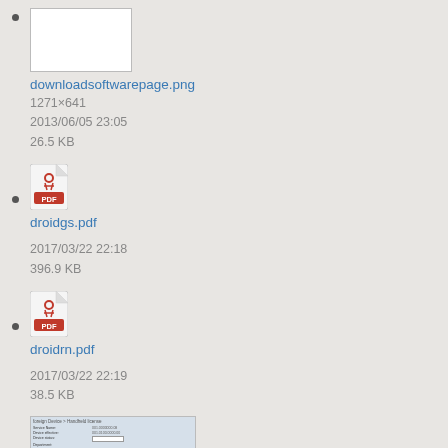downloadsoftwarepage.png
1271×641
2013/06/05 23:05
26.5 KB
droidgs.pdf
2017/03/22 22:18
396.9 KB
droidrn.pdf
2017/03/22 22:19
38.5 KB
edit_mobile_data_device.png